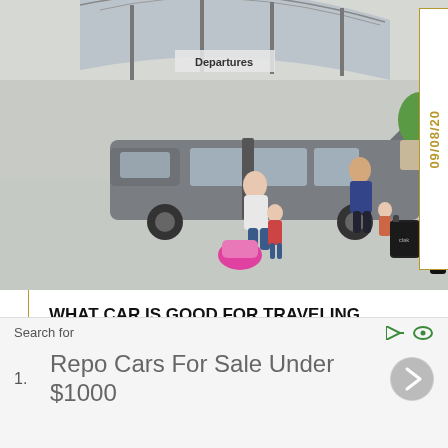[Figure (photo): Family at airport departures area unloading a minivan. A woman is placing a pink car seat on the ground near a toddler, while a man and child stand near luggage by the back of the vehicle. A glass-canopy covered departures area is visible in the background.]
09/08/20
WHAT CAR IS GOOD FOR TRAVELING
Traveling by car is not for everyone. The ones that do
Search for
1. Repo Cars For Sale Under $1000